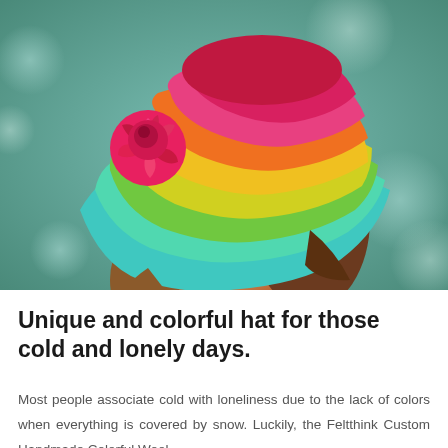[Figure (photo): A young woman with a nose piercing looking downward, wearing a colorful rainbow-striped felted wool hat with a pink rose decoration on the left side. The hat has bands of pink, orange, yellow, green, teal, and blue. Background is blurred green/teal bokeh.]
Unique and colorful hat for those cold and lonely days.
Most people associate cold with loneliness due to the lack of colors when everything is covered by snow. Luckily, the Feltthink Custom Handmade Colorful Wool